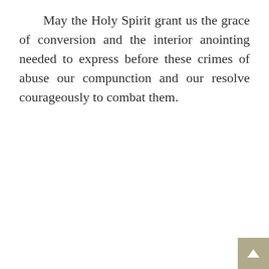May the Holy Spirit grant us the grace of conversion and the interior anointing needed to express before these crimes of abuse our compunction and our resolve courageously to combat them.
Pope Francis
[Figure (infographic): Row of social sharing icons: print, RSS, Facebook, Twitter, WhatsApp, Viber — all in light grey]
STAY IN TOUCH
Follow us on social networks
[Figure (infographic): Three circular social network icons: Facebook (f), Telegram (paper plane), Twitter (bird) — outlined in dark red/crimson]